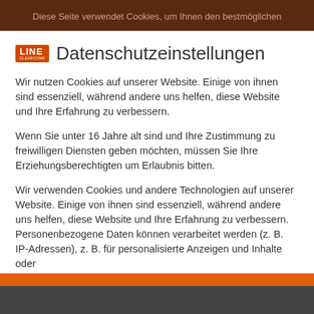Diese Seite verwendet Cookies, um Ihnen den bestmöglichen
Datenschutzeinstellungen
Wir nutzen Cookies auf unserer Website. Einige von ihnen sind essenziell, während andere uns helfen, diese Website und Ihre Erfahrung zu verbessern.
Wenn Sie unter 16 Jahre alt sind und Ihre Zustimmung zu freiwilligen Diensten geben möchten, müssen Sie Ihre Erziehungsberechtigten um Erlaubnis bitten.
Wir verwenden Cookies und andere Technologien auf unserer Website. Einige von ihnen sind essenziell, während andere uns helfen, diese Website und Ihre Erfahrung zu verbessern. Personenbezogene Daten können verarbeitet werden (z. B. IP-Adressen), z. B. für personalisierte Anzeigen und Inhalte oder
✓ Essenziell